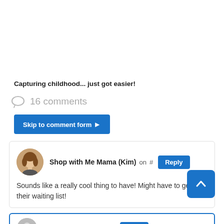Capturing childhood... just got easier!
16 comments
Skip to comment form
Shop with Me Mama (Kim) on # Reply
Sounds like a really cool thing to have! Might have to get on their waiting list!
[Figure (other): Partially visible second comment block with avatar and Reply button]